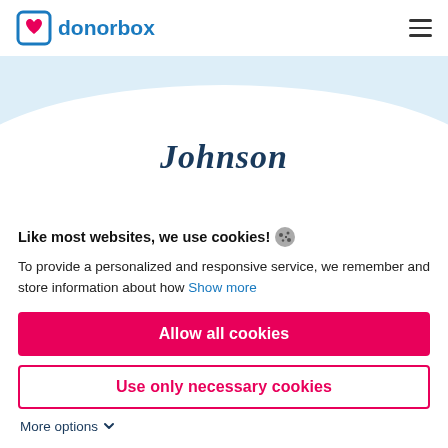[Figure (logo): Donorbox logo with blue bracket icon containing a red heart, and the text 'donorbox' in blue]
[Figure (screenshot): Light blue hero banner section with the italic bold text 'Johnson' in dark navy, with a white ellipse shape at the bottom]
Like most websites, we use cookies! To provide a personalized and responsive service, we remember and store information about how Show more
Allow all cookies
Use only necessary cookies
More options